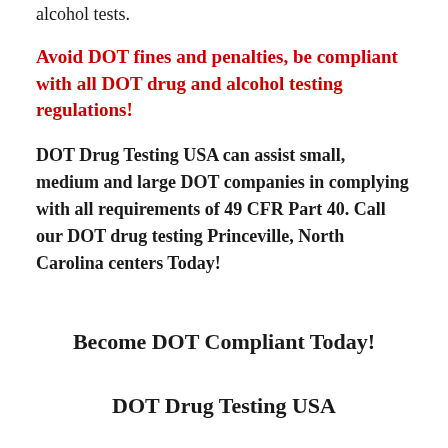alcohol tests.
Avoid DOT fines and penalties, be compliant with all DOT drug and alcohol testing regulations!
DOT Drug Testing USA can assist small, medium and large DOT companies in complying with all requirements of 49 CFR Part 40. Call our DOT drug testing Princeville, North Carolina centers Today!
Become DOT Compliant Today!
DOT Drug Testing USA